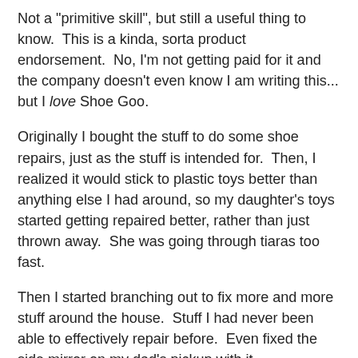Not a "primitive skill", but still a useful thing to know. This is a kinda, sorta product endorsement. No, I'm not getting paid for it and the company doesn't even know I am writing this... but I love Shoe Goo.
Originally I bought the stuff to do some shoe repairs, just as the stuff is intended for. Then, I realized it would stick to plastic toys better than anything else I had around, so my daughter's toys started getting repaired better, rather than just thrown away. She was going through tiaras too fast.
Then I started branching out to fix more and more stuff around the house. Stuff I had never been able to effectively repair before. Even fixed the side mirror on my dad's pickup with it.
The most useful thing I have found is that I can extend the life of my pants by 2 or 3 times. Maybe more. Actually, I haven't yet had to give up on a pair of pants that I have repaired with Shoe Goo.
I always wear out the left knee of my pants before anything